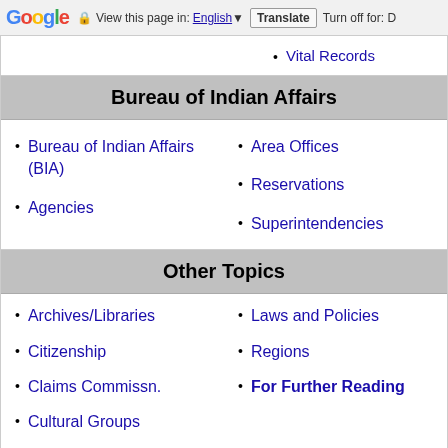Google  View this page in: English  Translate  Turn off for: D
Vital Records
Bureau of Indian Affairs
Bureau of Indian Affairs (BIA)
Area Offices
Agencies
Reservations
Superintendencies
Other Topics
Archives/Libraries
Laws and Policies
Citizenship
Regions
Claims Commissn.
For Further Reading
Cultural Groups
Forts
Glossary